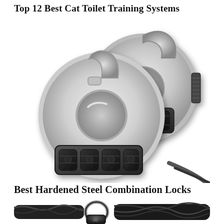Top 12 Best Cat Toilet Training Systems
[Figure (photo): Two circular stainless steel combination padlocks with 4-digit combination dials, shown in black and white/grayscale. One lock is in the foreground (larger, lower-left) and one in the background (upper-right).]
Best Hardened Steel Combination Locks
[Figure (photo): Black braided steel cable lock with a padlock, shown partially, in black and white/grayscale.]